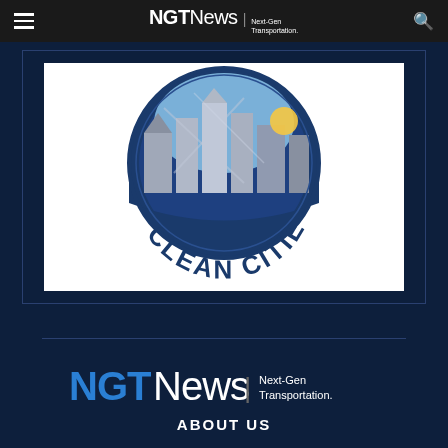NGTNews | Next-Gen Transportation.
[Figure (logo): Clean Cities logo — circular blue emblem with geometric city skyline shapes and 'CLEAN CITIES' text in bold blue arc at the bottom]
[Figure (logo): NGTNews | Next-Gen Transportation. footer logo in blue and white on dark navy background]
ABOUT US